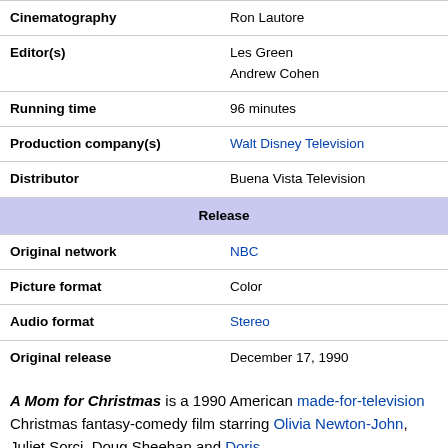| Field | Value |
| --- | --- |
| Cinematography | Ron Lautore |
| Editor(s) | Les Green
Andrew Cohen |
| Running time | 96 minutes |
| Production company(s) | Walt Disney Television |
| Distributor | Buena Vista Television |
| Release |  |
| Original network | NBC |
| Picture format | Color |
| Audio format | Stereo |
| Original release | December 17, 1990 |
A Mom for Christmas is a 1990 American made-for-television Christmas fantasy-comedy film starring Olivia Newton-John, Juliet Sorci, Doug Sheehan and Doris